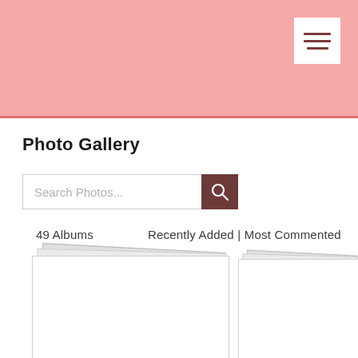[Figure (screenshot): Pink header banner with hamburger menu button in top right corner]
Photo Gallery
[Figure (screenshot): Search bar with placeholder text 'Search Photos...' and dark red search button with magnifier icon]
49 Albums
Recently Added | Most Commented
[Figure (photo): Stacked photo album cards on the left]
[Figure (photo): Stacked photo album cards on the right]